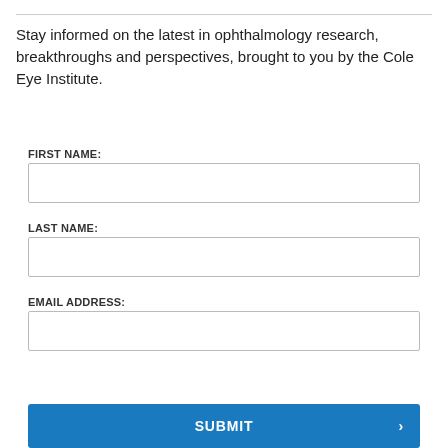Stay informed on the latest in ophthalmology research, breakthroughs and perspectives, brought to you by the Cole Eye Institute.
FIRST NAME:
LAST NAME:
EMAIL ADDRESS:
SUBMIT